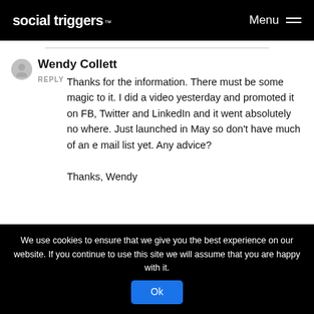social triggers TM   Menu
Wendy Collett
REPLY Thanks for the information. There must be some magic to it. I did a video yesterday and promoted it on FB, Twitter and LinkedIn and it went absolutely no where. Just launched in May so don't have much of an e mail list yet. Any advice?

Thanks, Wendy
We use cookies to ensure that we give you the best experience on our website. If you continue to use this site we will assume that you are happy with it. Ok